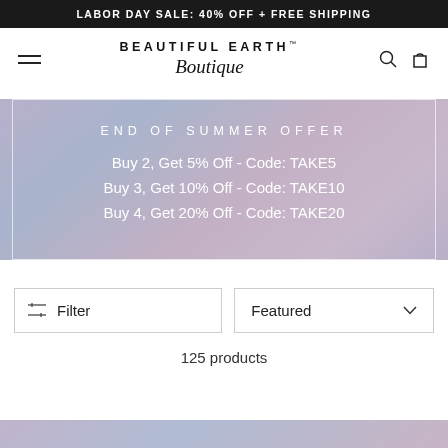LABOR DAY SALE: 40% OFF + FREE SHIPPING
BEAUTIFUL EARTH™ Boutique
[Figure (screenshot): Navigation bar with hamburger menu on left, Beautiful Earth Boutique logo in center, search and cart icons on right]
[Figure (infographic): End of Summer Offer promotional banner with pastel purple/blue sky background and white border, showing discount codes]
END OF SUMMER OFFER
Buy 2, Get 5% Off - Code: TAKE5
Buy 3, Get 10% Off - Code: TAKE10
Buy 4, Get 20% Off - Code: TAKE20
Filter
Featured
125 products